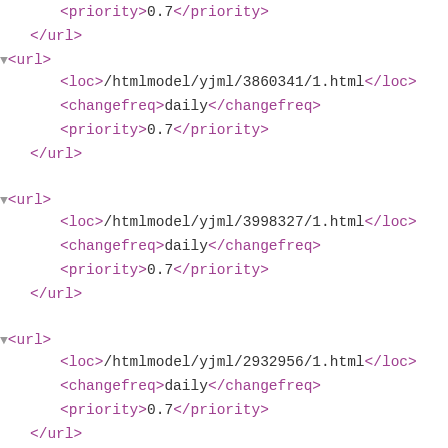<priority>0.7</priority>
</url>
▼<url>
  <loc>/htmlmodel/yjml/3860341/1.html</loc>
  <changefreq>daily</changefreq>
  <priority>0.7</priority>
</url>
▼<url>
  <loc>/htmlmodel/yjml/3998327/1.html</loc>
  <changefreq>daily</changefreq>
  <priority>0.7</priority>
</url>
▼<url>
  <loc>/htmlmodel/yjml/2932956/1.html</loc>
  <changefreq>daily</changefreq>
  <priority>0.7</priority>
</url>
▼<url>
  <loc>/htmlmodel/yjml/3236475/1.html</loc>
  <changefreq>daily</changefreq>
  <priority>0.7</priority>
</url>
▼<url>
  <loc>/htmlmodel/yjml/3545752/1.html</loc>
  <changefreq>daily</changefreq>
  <priority>0.7</priority>
</url>
▼<url>
  <loc>/htmlmodel/yjml/3594387/1.html</loc>
  <changefreq>daily</changefreq>